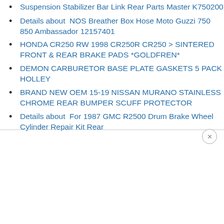Suspension Stabilizer Bar Link Rear Parts Master K750200
Details about  NOS Breather Box Hose Moto Guzzi 750 850 Ambassador 12157401
HONDA CR250 RW 1998 CR250R CR250 > SINTERED FRONT & REAR BRAKE PADS *GOLDFREN*
DEMON CARBURETOR BASE PLATE GASKETS 5 PACK HOLLEY
BRAND NEW OEM 15-19 NISSAN MURANO STAINLESS CHROME REAR BUMPER SCUFF PROTECTOR
Details about  For 1987 GMC R2500 Drum Brake Wheel Cylinder Repair Kit Rear